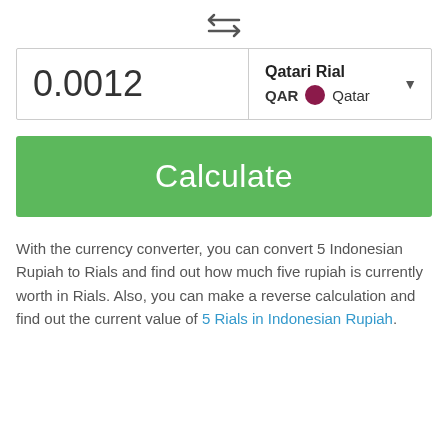[Figure (other): Swap/exchange arrows icon centered at top of page]
0.0012   Qatari Rial QAR Qatar
Calculate
With the currency converter, you can convert 5 Indonesian Rupiah to Rials and find out how much five rupiah is currently worth in Rials. Also, you can make a reverse calculation and find out the current value of 5 Rials in Indonesian Rupiah.